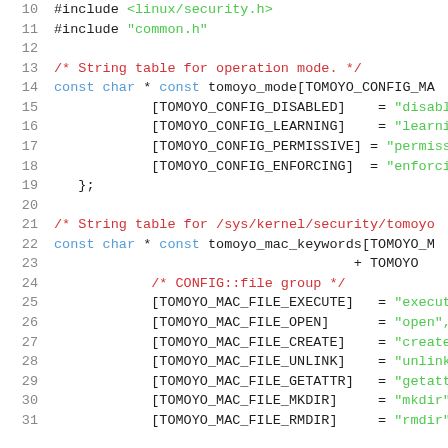[Figure (screenshot): Source code listing in C showing string table definitions for TOMOYO Linux security module, lines 10-31, with syntax highlighting. Blue keywords, green strings, red comments, dark identifiers.]